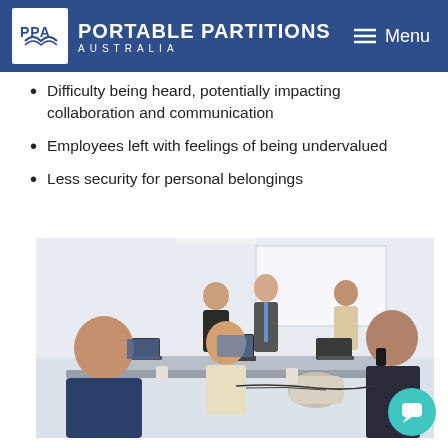PPA | PORTABLE PARTITIONS AUSTRALIA — Menu
Difficulty being heard, potentially impacting collaboration and communication
Employees left with feelings of being undervalued
Less security for personal belongings
[Figure (photo): Office workers seated at long desks with laptops and computers in an open-plan workspace; several people working and talking, one man on phone in foreground on right, two people standing in background.]